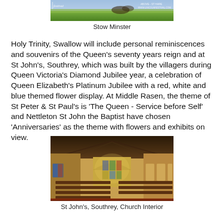[Figure (photo): Top image showing Stow Minster exterior with festival branding and green landscape]
Stow Minster
Holy Trinity, Swallow will include personal reminiscences and souvenirs of the Queen’s seventy years reign and at St John’s, Southrey, which was built by the villagers during Queen Victoria’s Diamond Jubilee year, a celebration of Queen Elizabeth’s Platinum Jubilee with a red, white and blue themed flower display. At Middle Rasen, the theme of St Peter & St Paul’s is ‘The Queen - Service before Self’ and Nettleton St John the Baptist have chosen ‘Anniversaries’ as the theme with flowers and exhibits on view.
[Figure (photo): Interior of a historic church showing wooden pews, vaulted timber ceiling, stained glass windows at the altar end, and decorative wall panels]
St John’s, Southrey, Church Interior